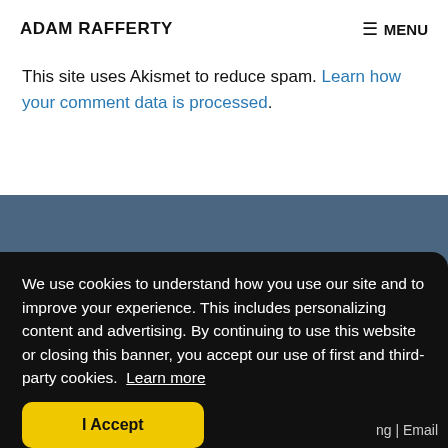ADAM RAFFERTY | MENU
This site uses Akismet to reduce spam. Learn how your comment data is processed.
We use cookies to understand how you use our site and to improve your experience. This includes personalizing content and advertising. By continuing to use this website or closing this banner, you accept our use of first and third-party cookies. Learn more
I Accept
ng | Email